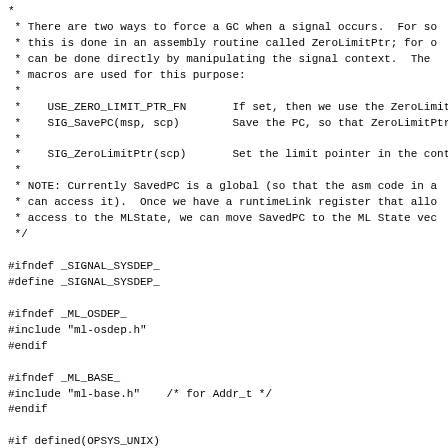* 
 * There are two ways to force a GC when a signal occurs.  For so
 * this is done in an assembly routine called ZeroLimitPtr; for o
 * can be done directly by manipulating the signal context.  The
 * macros are used for this purpose:
 *
 *    USE_ZERO_LIMIT_PTR_FN       If set, then we use the ZeroLimit
 *    SIG_SavePC(msp, scp)        Save the PC, so that ZeroLimitPtr
 *
 *    SIG_ZeroLimitPtr(scp)       Set the limit pointer in the cont
 *
 * NOTE: Currently SavedPC is a global (so that the asm code in a
 * can access it).  Once we have a runtimeLink register that allo
 * access to the MLState, we can move SavedPC to the ML State vec
 */

#ifndef _SIGNAL_SYSDEP_
#define _SIGNAL_SYSDEP_

#ifndef _ML_OSDEP_
#include "ml-osdep.h"
#endif

#ifndef _ML_BASE_
#include "ml-base.h"    /* for Addr_t */
#endif

#if defined(OPSYS_UNIX)
#  include <signal.h>
#endif

#if defined(HAS_UCONTEXT)
#include <ucontext.h>
#include <siginfo.h>

typedef void SigReturn_t;
typedef siginfo_t *SigInfo_t;